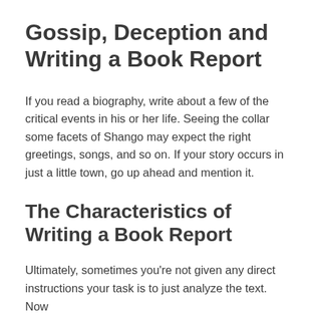Gossip, Deception and Writing a Book Report
If you read a biography, write about a few of the critical events in his or her life. Seeing the collar some facets of Shango may expect the right greetings, songs, and so on. If your story occurs in just a little town, go up ahead and mention it.
The Characteristics of Writing a Book Report
Ultimately, sometimes you're not given any direct instructions your task is to just analyze the text. Now